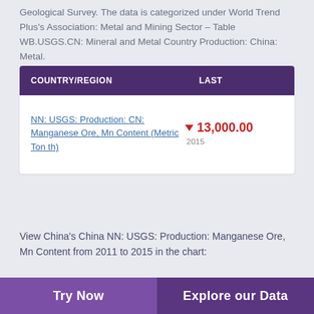Geological Survey. The data is categorized under World Trend Plus's Association: Metal and Mining Sector – Table WB.USGS.CN: Mineral and Metal Country Production: China: Metal.
| COUNTRY/REGION | LAST |
| --- | --- |
| NN: USGS: Production: CN: Manganese Ore, Mn Content (Metric Ton th) | ▼ 13,000.00
2015 |
View China's China NN: USGS: Production: Manganese Ore, Mn Content from 2011 to 2015 in the chart:
[Figure (area-chart): Area chart showing declining manganese ore production from ~20,000,000 in 2011 to ~16,500,000 in 2015, with labels 20 000,000, 20 000,000, and 16,500,000 visible]
Try Now    Explore our Data